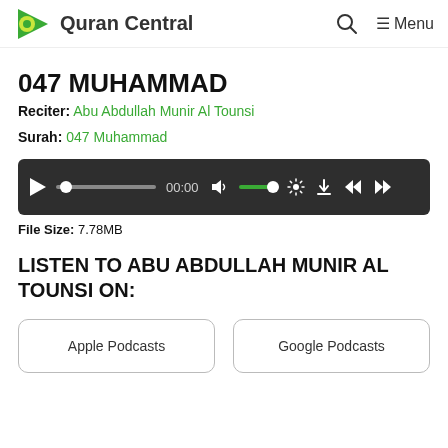Quran Central
047 MUHAMMAD
Reciter: Abu Abdullah Munir Al Tounsi
Surah: 047 Muhammad
[Figure (other): Audio player bar with play button, progress track, time display 00:00, volume control, settings, download, skip back and skip forward buttons]
File Size: 7.78MB
LISTEN TO ABU ABDULLAH MUNIR AL TOUNSI ON:
Apple Podcasts
Google Podcasts